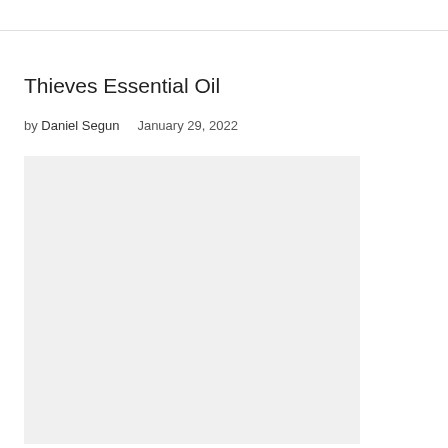Thieves Essential Oil
by Daniel Segun   January 29, 2022
[Figure (photo): A light gray rectangular image placeholder for a photo related to Thieves Essential Oil]